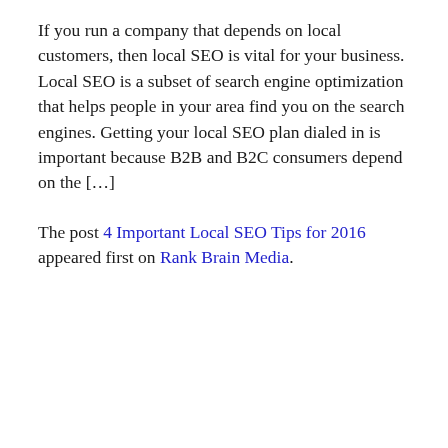If you run a company that depends on local customers, then local SEO is vital for your business. Local SEO is a subset of search engine optimization that helps people in your area find you on the search engines. Getting your local SEO plan dialed in is important because B2B and B2C consumers depend on the […]
The post 4 Important Local SEO Tips for 2016 appeared first on Rank Brain Media.